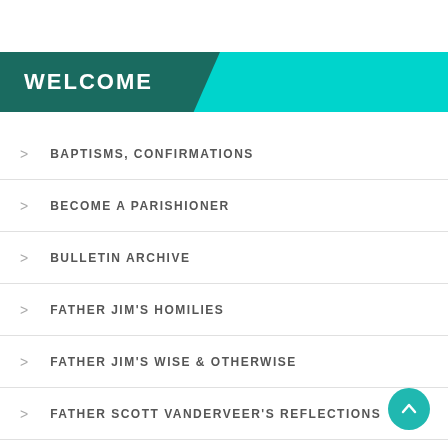WELCOME
BAPTISMS, CONFIRMATIONS
BECOME A PARISHIONER
BULLETIN ARCHIVE
FATHER JIM'S HOMILIES
FATHER JIM'S WISE & OTHERWISE
FATHER SCOTT VANDERVEER'S REFLECTIONS
FINANCIAL REPORTS
MINISTRIES